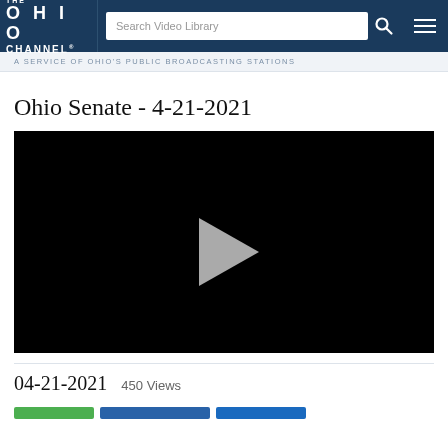THE OHIO CHANNEL — Search Video Library — Navigation
A SERVICE OF OHIO'S PUBLIC BROADCASTING STATIONS
Ohio Senate - 4-21-2021
[Figure (screenshot): Black video player with a gray play button triangle in the center, showing a paused/unstarted video]
04-21-2021  450 Views